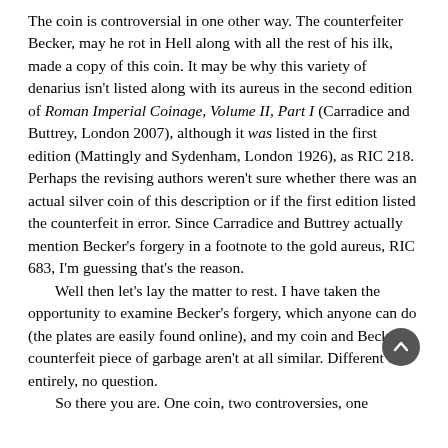The coin is controversial in one other way. The counterfeiter Becker, may he rot in Hell along with all the rest of his ilk, made a copy of this coin. It may be why this variety of denarius isn't listed along with its aureus in the second edition of Roman Imperial Coinage, Volume II, Part I (Carradice and Buttrey, London 2007), although it was listed in the first edition (Mattingly and Sydenham, London 1926), as RIC 218. Perhaps the revising authors weren't sure whether there was an actual silver coin of this description or if the first edition listed the counterfeit in error. Since Carradice and Buttrey actually mention Becker's forgery in a footnote to the gold aureus, RIC 683, I'm guessing that's the reason.

Well then let's lay the matter to rest. I have taken the opportunity to examine Becker's forgery, which anyone can do (the plates are easily found online), and my coin and Becker's counterfeit piece of garbage aren't at all similar. Different dies entirely, no question.

So there you are. One coin, two controversies, one